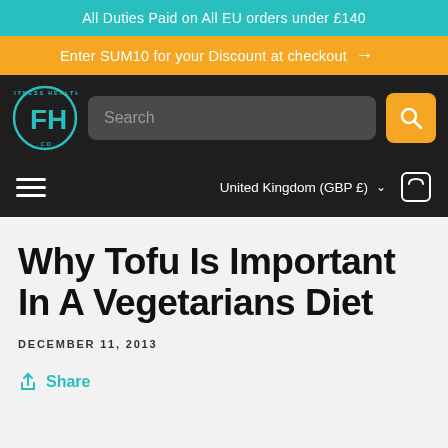All Duties Paid on All EU orders under £140
Enter SUM10 for your Discount at checkout →
[Figure (logo): FitnessHealth.co circular logo with teal/green FH letters on dark background]
Why Tofu Is Important In A Vegetarians Diet
DECEMBER 11, 2013
Share